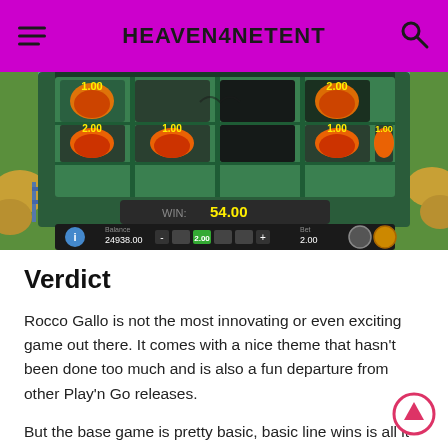HEAVEN4NETENT
[Figure (screenshot): Screenshot of a slot game 'Rocco Gallo' showing reels with pumpkin symbols and a win of 54.00, balance 24938.00, bet 2.00]
Verdict
Rocco Gallo is not the most innovating or even exciting game out there. It comes with a nice theme that hasn't been done too much and is also a fun departure from other Play'n Go releases.
But the base game is pretty basic, basic line wins is all it...